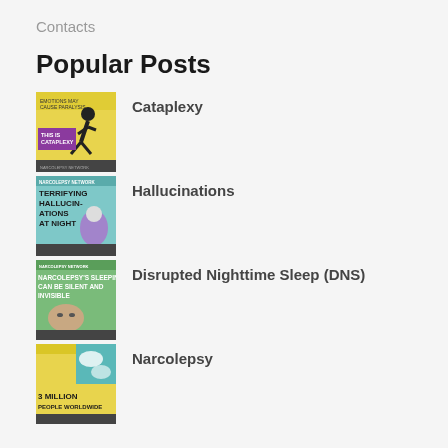Contacts
Popular Posts
[Figure (illustration): Book/poster thumbnail for Cataplexy post — yellow background with black figure and purple text reading 'THIS IS CATAPLEXY']
Cataplexy
[Figure (illustration): Book/poster thumbnail for Hallucinations post — teal background with text 'TERRIFYING HALLUCINATIONS AT NIGHT' and purple figure]
Hallucinations
[Figure (illustration): Book/poster thumbnail for Disrupted Nighttime Sleep post — green background with text about narcolepsy sleepiness being silent and invisible]
Disrupted Nighttime Sleep (DNS)
[Figure (illustration): Book/poster thumbnail for Narcolepsy post — yellow/teal background with text '3 MILLION PEOPLE WORLDWIDE']
Narcolepsy